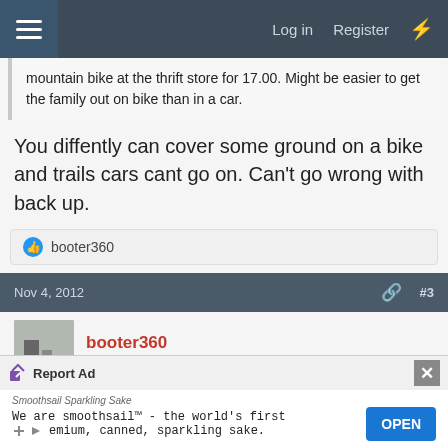Log in  Register
mountain bike at the thrift store for 17.00. Might be easier to get the family out on bike than in a car.
You diffently can cover some ground on a bike and trails cars cant go on. Can't go wrong with back up.
booter360
Nov 4, 2012  #3
booter360
Member
Colt 1911 said:
You diffently can cover some ground on a bike and trails
Report Ad
Smoothsail Sparkling Sake
We are smoothsail™ - the world's first premium, canned, sparkling sake.  OPEN